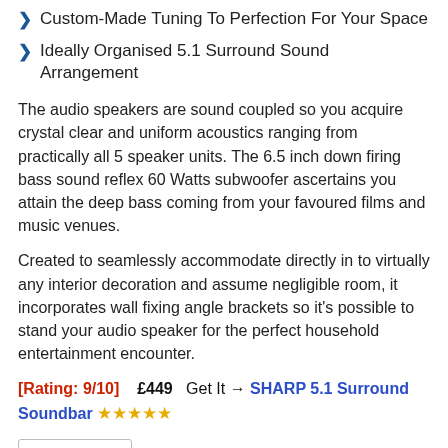Custom-Made Tuning To Perfection For Your Space
Ideally Organised 5.1 Surround Sound Arrangement
The audio speakers are sound coupled so you acquire crystal clear and uniform acoustics ranging from practically all 5 speaker units. The 6.5 inch down firing bass sound reflex 60 Watts subwoofer ascertains you attain the deep bass coming from your favoured films and music venues.
Created to seamlessly accommodate directly in to virtually any interior decoration and assume negligible room, it incorporates wall fixing angle brackets so it's possible to stand your audio speaker for the perfect household entertainment encounter.
[Rating: 9/10]   £449   Get It → SHARP 5.1 Surround Soundbar ★★★★★
BUY NOW